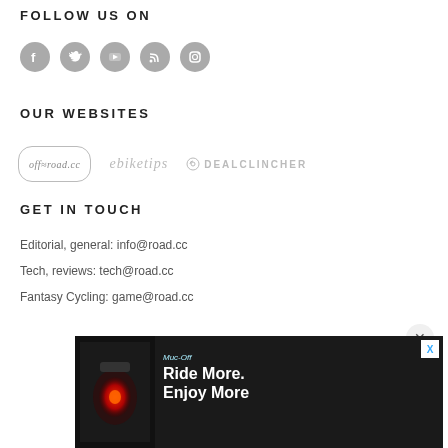FOLLOW US ON
[Figure (illustration): Five social media icons (Facebook, Twitter, YouTube, RSS, Instagram) as grey circles]
OUR WEBSITES
[Figure (logo): Three website logos: off-road.cc, ebiketips, dealclincher]
GET IN TOUCH
Editorial, general: info@road.cc
Tech, reviews: tech@road.cc
Fantasy Cycling: game@road.cc
Advertising, commercial: sales@road.cc
View our media pack
Repo
SUP
[Figure (screenshot): Ad overlay: Ride More. Enjoy More advertisement with bicycle light image]